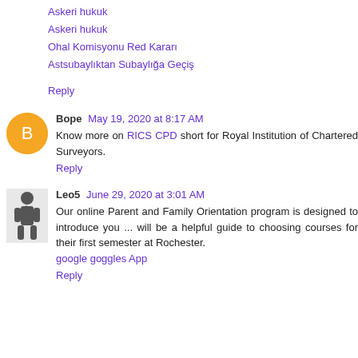Askeri hukuk
Askeri hukuk
Ohal Komisyonu Red Kararı
Astsubaylıktan Subaylığa Geçiş
Reply
Bope May 19, 2020 at 8:17 AM
Know more on RICS CPD short for Royal Institution of Chartered Surveyors.
Reply
Leo5 June 29, 2020 at 3:01 AM
Our online Parent and Family Orientation program is designed to introduce you ... will be a helpful guide to choosing courses for their first semester at Rochester. google goggles App
Reply